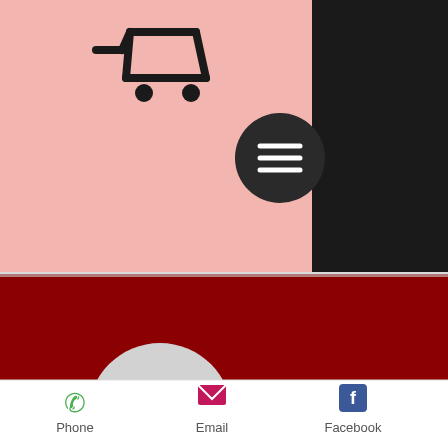[Figure (screenshot): Mobile app screenshot showing a shopping cart icon on a pink/salmon background with a black panel on the right, a dark circular hamburger menu button, a dark red banner section with a Follow button and three-dot menu, a circular avatar with letter S, partial text 'Safest oral steroid for bulking', and a bottom navigation bar with Phone, Email, and Facebook options.]